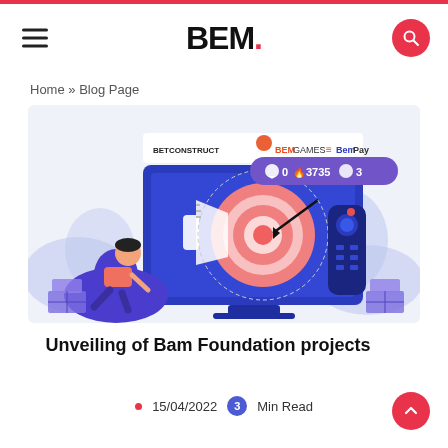BEM.
Home » Blog Page
[Figure (illustration): Blog post header illustration showing a person sitting on a bean bag chair in front of a large TV screen displaying a target/bullseye with a megaphone, and a remote control beside the TV. Logos for BetConstruct, BEM Games, and BemPay appear at the top of the image.]
Unveiling of Bam Foundation projects
15/04/2022  3 Min Read